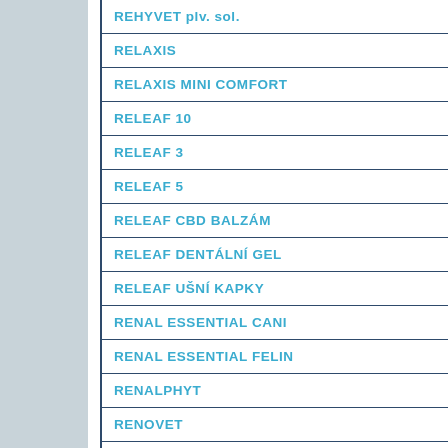| Product |
| --- |
| REHYVET plv. sol. |
| RELAXIS |
| RELAXIS MINI COMFORT |
| RELEAF 10 |
| RELEAF 3 |
| RELEAF 5 |
| RELEAF CBD BALZÁM |
| RELEAF DENTÁLNÍ GEL |
| RELEAF UŠNÍ KAPKY |
| RENAL ESSENTIAL CANI... |
| RENAL ESSENTIAL FELIN... |
| RENALPHYT |
| RENOVET |
| REVIT |